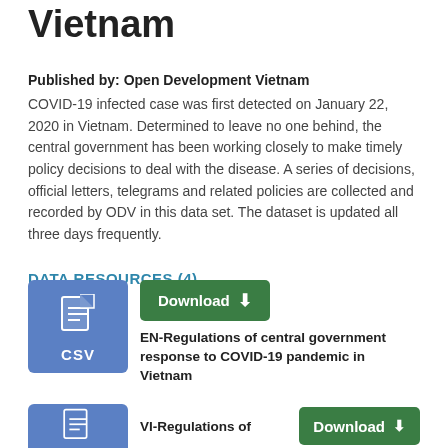Vietnam
Published by: Open Development Vietnam
COVID-19 infected case was first detected on January 22, 2020 in Vietnam. Determined to leave no one behind, the central government has been working closely to make timely policy decisions to deal with the disease. A series of decisions, official letters, telegrams and related policies are collected and recorded by ODV in this data set. The dataset is updated all three days frequently.
DATA RESOURCES (4)
[Figure (other): CSV file icon in blue box]
EN-Regulations of central government response to COVID-19 pandemic in Vietnam
Download
[Figure (other): Second resource CSV icon and Download button (partially visible)]
VI-Regulations of...